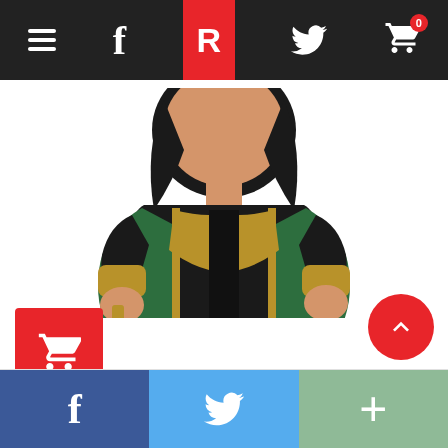Navigation bar with hamburger menu, Facebook icon, R logo, Twitter icon, and shopping cart (0 items)
[Figure (photo): Funko Pop Loki Thor 2 Bobblehead Figure toy, wearing black and green costume with gold armor trim, holding a dagger]
[Figure (other): Red add-to-cart button with shopping cart icon]
Loki Pop! Thor 2 Loki Bobblehead Figure
(GEEK GIFTS, SUPERHERO COLLECTABLES)
[Figure (other): 4.5 out of 5 star rating]
$10.99 $10.39
Facebook share | Twitter share | More